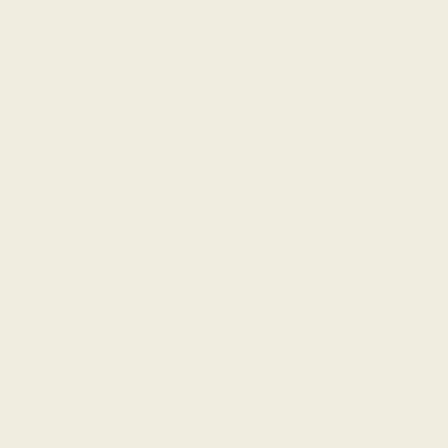| Subject | Author |
| --- | --- |
| Re: Not-really-brag-so-much-as-quirky-anecdote thread | aquinas |
| Re: Not-really-brag-so-much-as-quirky-anecdote thread | Somerda |
| Re: Not-really-brag-so-much-as-quirky-anecdote thread | HowlerKa |
| Re: Not-really-brag-so-much-as-quirky-anecdote thread | ColinsMu |
| Re: Not-really-brag-so-much-as-quirky-anecdote thread | 22B |
| Re: Not-really-brag-so-much-as-quirky-anecdote thread | HowlerKa |
| Re: Not-really-... |  |